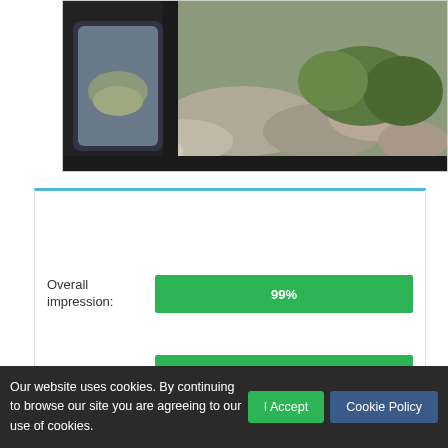[Figure (photo): View through a car window showing rocky terrain and vegetation, with a car side mirror visible on the left side.]
Ratings of Veseli d.o.o. turistička agencija
[Figure (bar-chart): Ratings]
Our website uses cookies. By continuing to browse our site you are agreeing to our use of cookies.
I Accept
Cookie Policy